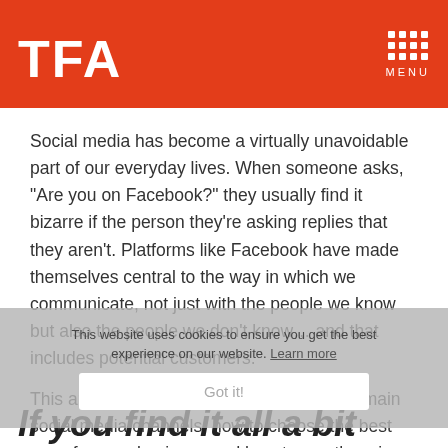TFA MENU
Social media has become a virtually unavoidable part of our everyday lives. When someone asks, “Are you on Facebook?” they usually find it bizarre if the person they’re asking replies that they aren’t. Platforms like Facebook have made themselves central to the way in which we communicate, not just with the people we know but also the people we don’t know… and that includes potential customers.
This article is going to explore some of the main social media channels, how to choose the best ones for your business and how to use them in the right way to get leads.
This website uses cookies to ensure you get the best experience on our website. Learn more. Got it!
If you find it all a bit